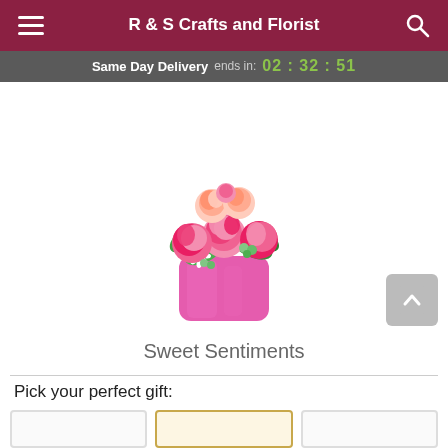R & S Crafts and Florist
Same Day Delivery ends in: 02 : 32 : 51
[Figure (photo): A floral arrangement of pink carnations, roses, and white daisies in a pink faceted glass vase, photographed on a white background.]
Sweet Sentiments
Pick your perfect gift: